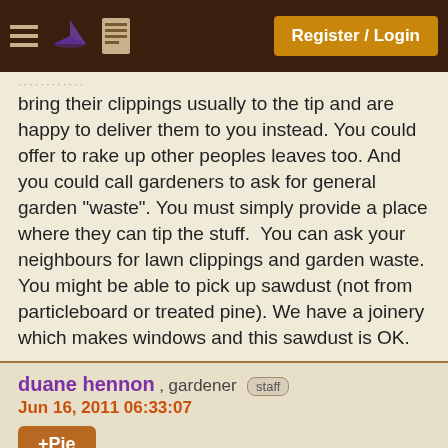Register / Login
bring their clippings usually to the tip and are happy to deliver them to you instead. You could offer to rake up other peoples leaves too. And you could call gardeners to ask for general garden "waste". You must simply provide a place where they can tip the stuff.  You can ask your neighbours for lawn clippings and garden waste. You might be able to pick up sawdust (not from particleboard or treated pine). We have a joinery which makes windows and this sawdust is OK.
duane hennon , gardener staff
Jun 16, 2011 06:33:07
+Pie
hi lilacgirl,

where did the rain go? if the rain did not [cut off] grass clippings, it had to go somewhere either as runoff or evaporation. if the mulch is between the plants but [cut off]